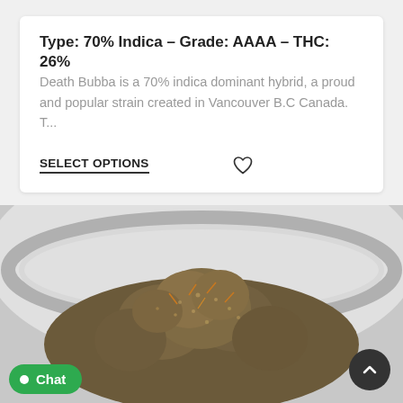Type: 70% Indica – Grade: AAAA – THC: 26%
Death Bubba is a 70% indica dominant hybrid, a proud and popular strain created in Vancouver B.C Canada. T...
SELECT OPTIONS
[Figure (photo): Close-up photo of cannabis buds in a glass jar, showing dense greenish-brown flower clusters with visible trichomes, photographed from above at an angle showing the jar rim.]